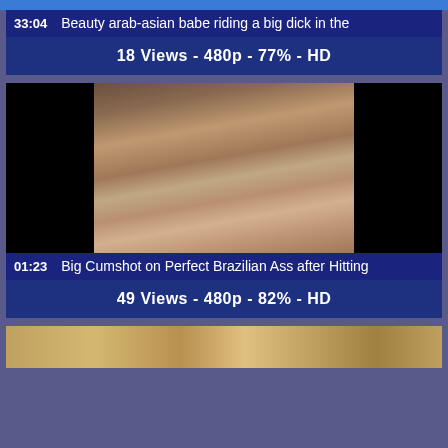33:04  Beauty arab-asian babe riding a big dick in the
18 Views - 480p - 77% - HD
[Figure (photo): Video thumbnail showing a person on a bed, dark border on left and right sides]
01:23  Big Cumshot on Perfect Brazilian Ass after Hitting
49 Views - 480p - 82% - HD
[Figure (photo): Partial thumbnail at bottom of page]